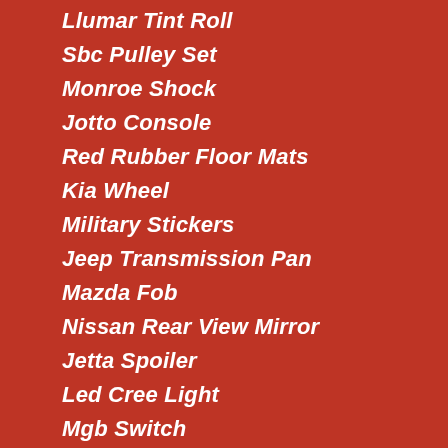Llumar Tint Roll
Sbc Pulley Set
Monroe Shock
Jotto Console
Red Rubber Floor Mats
Kia Wheel
Military Stickers
Jeep Transmission Pan
Mazda Fob
Nissan Rear View Mirror
Jetta Spoiler
Led Cree Light
Mgb Switch
Plymouth Transmission
Ls6 Heads
Momo Race Seats
K N Air Filter Cone
Mallory Spark Plug Wires